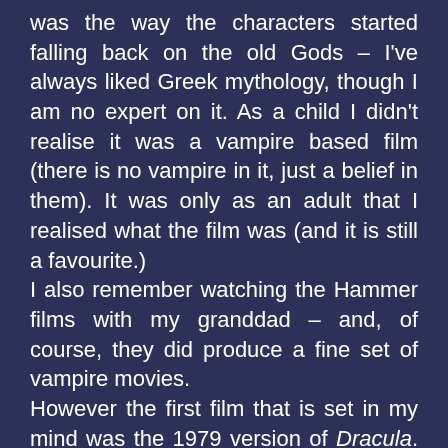was the way the characters started falling back on the old Gods – I've always liked Greek mythology, though I am no expert on it. As a child I didn't realise it was a vampire based film (there is no vampire in it, just a belief in them). It was only as an adult that I realised what the film was (and it is still a favourite.)
I also remember watching the Hammer films with my granddad – and, of course, they did produce a fine set of vampire movies.
However the first film that is set in my mind was the 1979 version of Dracula. My granddad